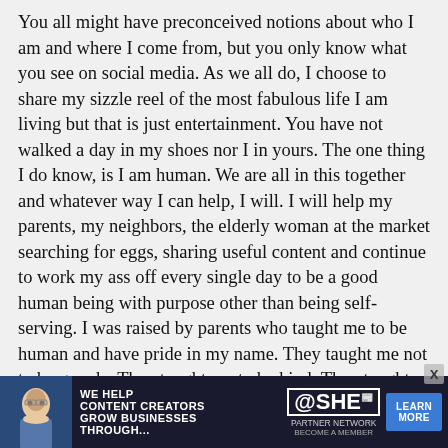You all might have preconceived notions about who I am and where I come from, but you only know what you see on social media. As we all do, I choose to share my sizzle reel of the most fabulous life I am living but that is just entertainment. You have not walked a day in my shoes nor I in yours. The one thing I do know, is I am human. We are all in this together and whatever way I can help, I will. I will help my parents, my neighbors, the elderly woman at the market searching for eggs, sharing useful content and continue to work my ass off every single day to be a good human being with purpose other than being self-serving. I was raised by parents who taught me to be human and have pride in my name. They taught me not to be greedy. They taught me to be kind. They taught me to be a “Mensch”.
My grandparents were Holocaust survivors and came to this country legally, with no money. Not a dime. They worked hard so that I would have a better life. Before they came he
[Figure (other): Advertisement banner for SHE Media Partner Network. Dark navy background with photo of woman with glasses, text reading 'WE HELP CONTENT CREATORS GROW BUSINESSES THROUGH...' and SHE logo with 'PARTNER NETWORK BECOME A MEMBER', and a blue 'LEARN MORE' button. An X close button appears above-right.]